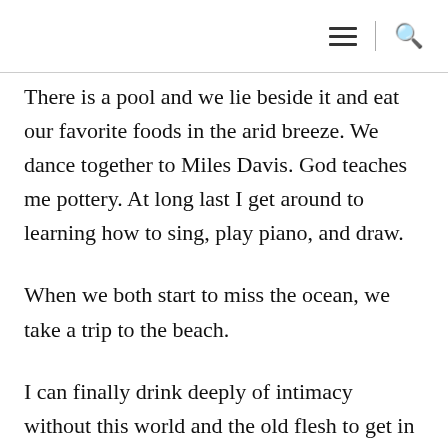☰ | 🔍
There is a pool and we lie beside it and eat our favorite foods in the arid breeze. We dance together to Miles Davis. God teaches me pottery. At long last I get around to learning how to sing, play piano, and draw.
When we both start to miss the ocean, we take a trip to the beach.
I can finally drink deeply of intimacy without this world and the old flesh to get in the way.
A friend once objected to the concept of heaven, saying it sounded awfully